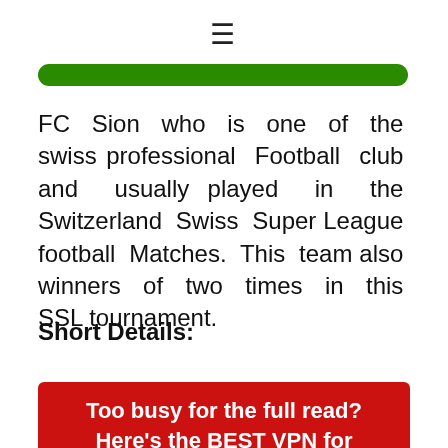≡
[Figure (other): Green rounded rectangle/button banner]
FC Sion who is one of the swiss professional Football club and usually played in the Switzerland Swiss Super League football Matches. This team also winners of two times in this SSL tournament.
Short Details:
[Figure (other): Red banner with white bold text: Too busy for the full read? Here's the BEST VPN for]